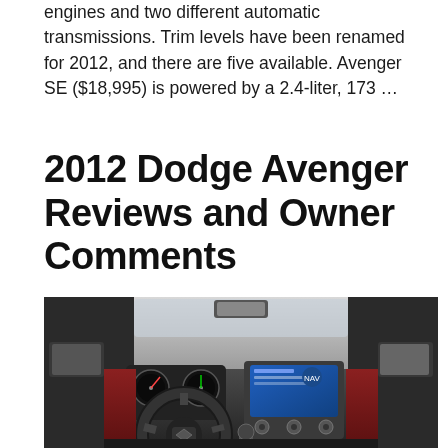engines and two different automatic transmissions. Trim levels have been renamed for 2012, and there are five available. Avenger SE ($18,995) is powered by a 2.4-liter, 173 ...
2012 Dodge Avenger Reviews and Owner Comments
[Figure (photo): Interior dashboard view of a 2012 Dodge Avenger showing steering wheel, center console with touchscreen infotainment, instrument cluster, and red/black interior trim.]